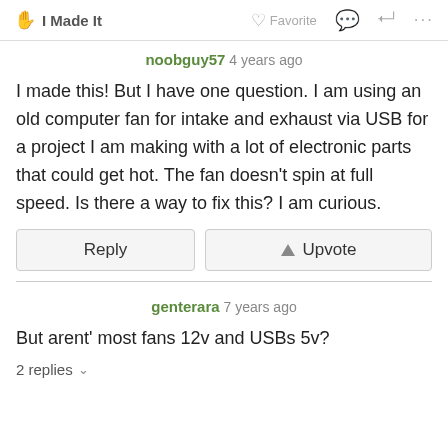✋ I Made It   ♡ Favorite   💬   🔗   ...
noobguy57 4 years ago
I made this! But I have one question. I am using an old computer fan for intake and exhaust via USB for a project I am making with a lot of electronic parts that could get hot. The fan doesn't spin at full speed. Is there a way to fix this? I am curious.
Reply   Upvote
genterara 7 years ago
But arent' most fans 12v and USBs 5v?
2 replies